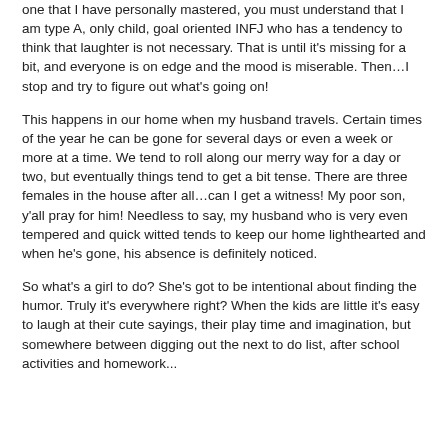one that I have personally mastered, you must understand that I am type A, only child, goal oriented INFJ who has a tendency to think that laughter is not necessary.  That is until it's missing for a bit, and everyone is on edge and the mood is miserable.  Then…I stop and try to figure out what's going on!
This happens in our home when my husband travels.  Certain times of the year he can be gone for several days or even a week or more at a time.  We tend to roll along our merry way for a day or two, but eventually things tend to get a bit tense.  There are three females in the house after all…can I get a witness!  My poor son, y'all pray for him!  Needless to say, my husband who is very even tempered and quick witted tends to keep our home lighthearted and when he's gone, his absence is definitely noticed.
So what's a girl to do?  She's got to be intentional about finding the humor.  Truly it's everywhere right? When the kids are little it's easy to laugh at their cute sayings, their play time and imagination, but somewhere between digging out the next to do list, after school activities and homework...